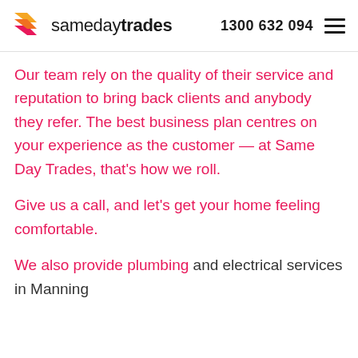samedaytrades  1300 632 094
Our team rely on the quality of their service and reputation to bring back clients and anybody they refer. The best business plan centres on your experience as the customer — at Same Day Trades, that's how we roll.
Give us a call, and let's get your home feeling comfortable.
We also provide plumbing and electrical services in Manning